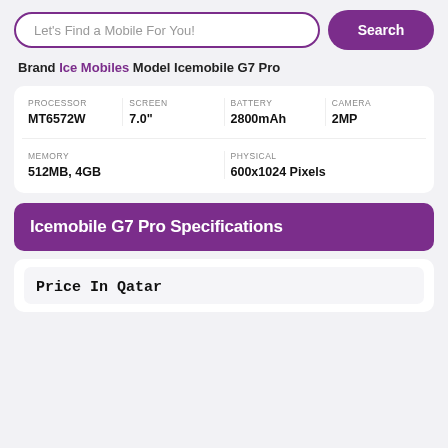Let's Find a Mobile For You!
Search
Brand Ice Mobiles Model Icemobile G7 Pro
| PROCESSOR | SCREEN | BATTERY | CAMERA |
| --- | --- | --- | --- |
| MT6572W | 7.0" | 2800mAh | 2MP |
| MEMORY | PHYSICAL |
| --- | --- |
| 512MB, 4GB | 600x1024 Pixels |
Icemobile G7 Pro Specifications
Price In Qatar